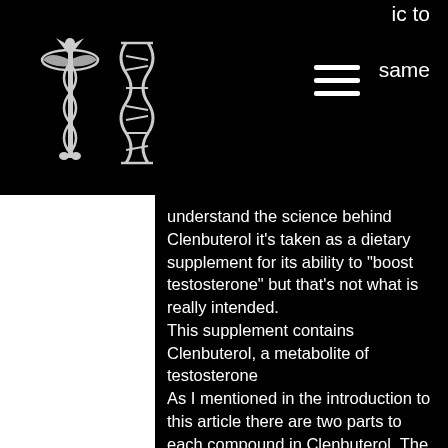ic to  same
[Figure (logo): Caduceus medical symbol and DNA double helix logo icons in white on black background]
understand the science behind Clenbuterol it's taken as a dietary supplement for its ability to "boost testosterone" but that's not what is really intended. This supplement contains Clenbuterol, a metabolite of testosterone As I mentioned in the introduction to this article there are two parts to each compound in Clenbuterol. The first is testosterone itself, can i lose weight while taking steroids. The second is in the metabolite of testosterone that is called clenbuterol, sarms for fat burning. From the science behind it it's pretty obvious that you will obtain the same effect from Clenbuterol at the same time as using androgens or estrogen alone